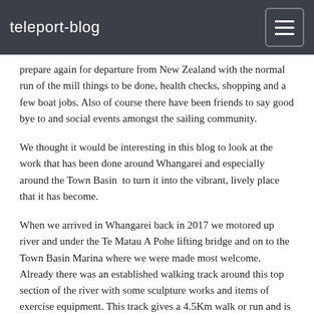teleport-blog
prepare again for departure from New Zealand with the normal run of the mill things to be done, health checks, shopping and a few boat jobs. Also of course there have been friends to say good bye to and social events amongst the sailing community.
We thought it would be interesting in this blog to look at the work that has been done around Whangarei and especially around the Town Basin  to turn it into the vibrant, lively place that it has become.
When we arrived in Whangarei back in 2017 we motored up river and under the Te Matau A Pohe lifting bridge and on to the Town Basin Marina where we were made most welcome. Already there was an established walking track around this top section of the river with some sculpture works and items of exercise equipment. This track gives a 4.5Km walk or run and is used by a lot of people for their regular exercise, during the day there is a steady stream of people of all ages